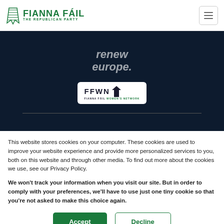[Figure (logo): Fianna Fáil – The Republican Party logo with green harp icon and party name]
[Figure (logo): Dark navy banner section showing partial text 'renew europe.' and FFWN (Fianna Fáil Women's Network) logo in white speech bubble box]
This website stores cookies on your computer. These cookies are used to improve your website experience and provide more personalized services to you, both on this website and through other media. To find out more about the cookies we use, see our Privacy Policy.
We won't track your information when you visit our site. But in order to comply with your preferences, we'll have to use just one tiny cookie so that you're not asked to make this choice again.
Accept
Decline